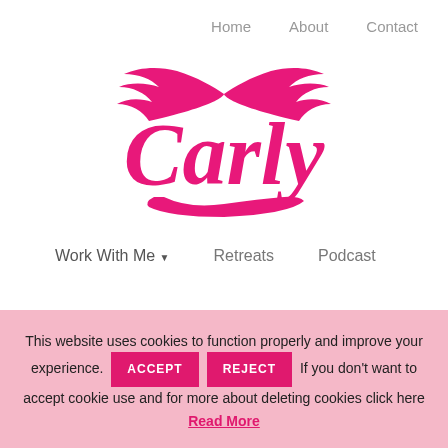Home   About   Contact
[Figure (logo): Carly brand logo with pink wings above stylized pink script text reading 'Carly' with decorative swoosh underline]
Work With Me ▾   Retreats   Podcast
This website uses cookies to function properly and improve your experience. ACCEPT REJECT If you don't want to accept cookie use and for more about deleting cookies click here Read More